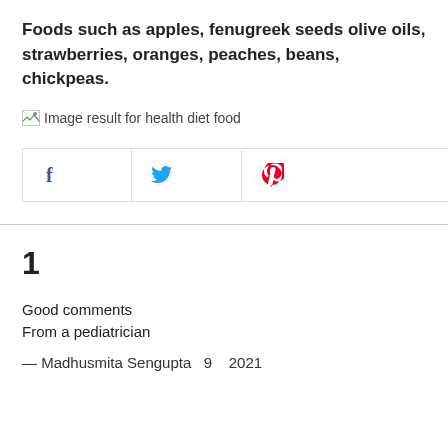Foods such as apples, fenugreek seeds olive oils, strawberries, oranges, peaches, beans, chickpeas.
[Figure (other): Broken image placeholder with text: Image result for health diet food]
[Figure (other): Social sharing buttons: Facebook, Twitter, Pinterest]
1
Good comments
From a pediatrician
— Madhusmita Sengupta   9   2021